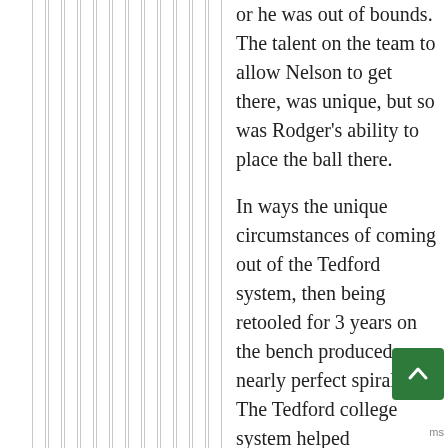or he was out of bounds. The talent on the team to allow Nelson to get there, was unique, but so was Rodger's ability to place the ball there.
In ways the unique circumstances of coming out of the Tedford system, then being retooled for 3 years on the bench produced a nearly perfect spiral. The Tedford college system helped developed